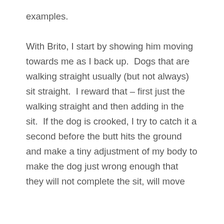examples. With Brito, I start by showing him moving towards me as I back up. Dogs that are walking straight usually (but not always) sit straight. I reward that – first just the walking straight and then adding in the sit. If the dog is crooked, I try to catch it a second before the butt hits the ground and make a tiny adjustment of my body to make the dog just wrong enough that they will not complete the sit, will move